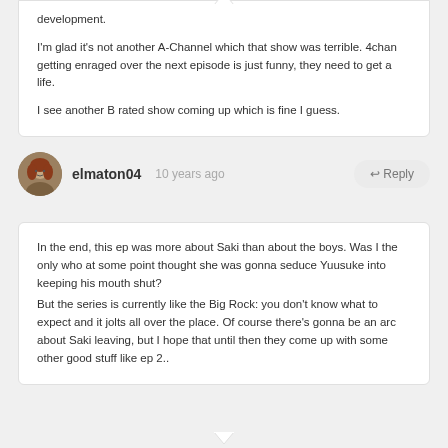development.
I'm glad it's not another A-Channel which that show was terrible. 4chan getting enraged over the next episode is just funny, they need to get a life.
I see another B rated show coming up which is fine I guess.
elmaton04   10 years ago   ↩ Reply
In the end, this ep was more about Saki than about the boys. Was I the only who at some point thought she was gonna seduce Yuusuke into keeping his mouth shut?
But the series is currently like the Big Rock: you don't know what to expect and it jolts all over the place. Of course there's gonna be an arc about Saki leaving, but I hope that until then they come up with some other good stuff like ep 2..